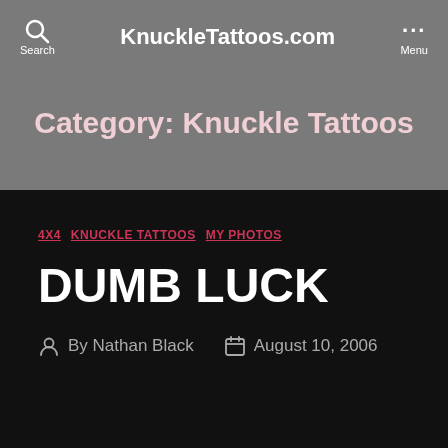KnuckleTattoos.com
Category: Knuckle Tattoos
4X4
KNUCKLE TATTOOS
MY PHOTOS
DUMB LUCK
By Nathan Black  August 10, 2006